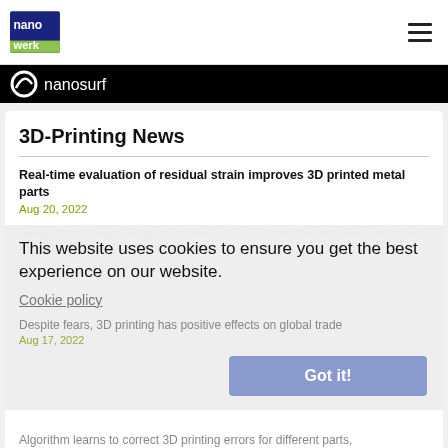nanowerk
[Figure (logo): Nanosurf banner advertisement with logo on black background]
3D-Printing News
Real-time evaluation of residual strain improves 3D printed metal parts
Aug 20, 2022
Researchers design nanoengineered inks for 3D-printable wearable electronics
Aug 19, 2022
Despite fears, 3D printing has positive effects on global trade
Aug 17, 2022
Algorithm learns to correct 3D printing errors for different parts,
This website uses cookies to ensure you get the best experience on our website.
Cookie policy
Got it!